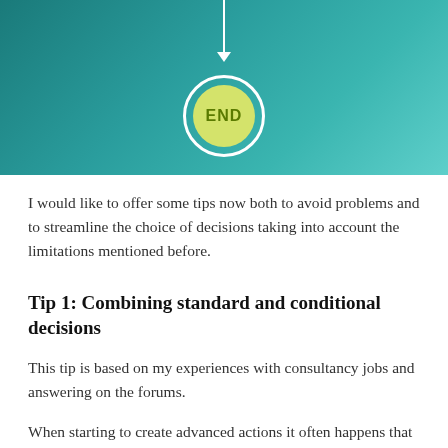[Figure (flowchart): Teal/green gradient background showing the end of a flowchart: a downward arrow pointing to a circle labeled 'END' (yellow-green circle with white outer ring)]
I would like to offer some tips now both to avoid problems and to streamline the choice of decisions taking into account the limitations mentioned before.
Tip 1: Combining standard and conditional decisions
This tip is based on my experiences with consultancy jobs and answering on the forums.
When starting to create advanced actions it often happens that too much commmands are pushed into one conditional decision. I recommend to reflect which of